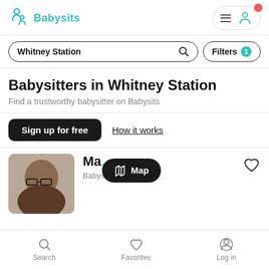[Figure (screenshot): Babysits app logo: teal person icon with smaller person below]
Babysits
Whitney Station search input with search icon and Filters 1 button
Babysitters in Whitney Station
Find a trustworthy babysitter on Babysits
Sign up for free
How it works
[Figure (photo): Profile photo of a woman with glasses]
Ma…
Map button overlay
Search  Favorites  Log in